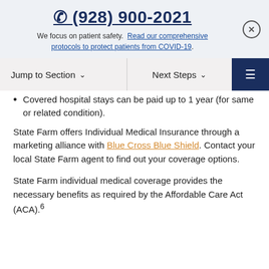☎ (928) 900-2021
We focus on patient safety. Read our comprehensive protocols to protect patients from COVID-19.
Jump to Section ▾   Next Steps ▾
Covered hospital stays can be paid up to 1 year (for same or related condition).
State Farm offers Individual Medical Insurance through a marketing alliance with Blue Cross Blue Shield. Contact your local State Farm agent to find out your coverage options.
State Farm individual medical coverage provides the necessary benefits as required by the Affordable Care Act (ACA).6